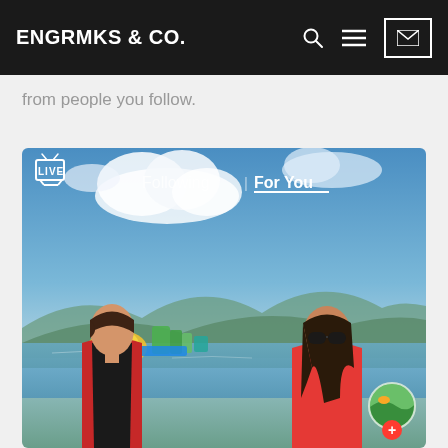ENGRMKS & CO.
from people you follow.
[Figure (screenshot): TikTok app screenshot showing 'Following | For You' navigation tabs, a LIVE icon, and two women in red jackets standing near an inflatable water park on a lake, with mountains and blue sky in background. A circular avatar with a green nature image and a red plus button appear in the bottom right.]